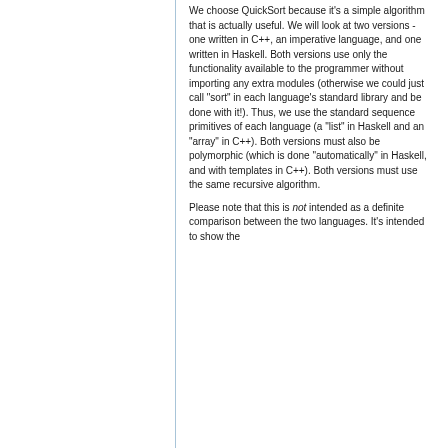We choose QuickSort because it's a simple algorithm that is actually useful. We will look at two versions - one written in C++, an imperative language, and one written in Haskell. Both versions use only the functionality available to the programmer without importing any extra modules (otherwise we could just call "sort" in each language's standard library and be done with it!). Thus, we use the standard sequence primitives of each language (a "list" in Haskell and an "array" in C++). Both versions must also be polymorphic (which is done "automatically" in Haskell, and with templates in C++). Both versions must use the same recursive algorithm.
Please note that this is not intended as a definite comparison between the two languages. It's intended to show the